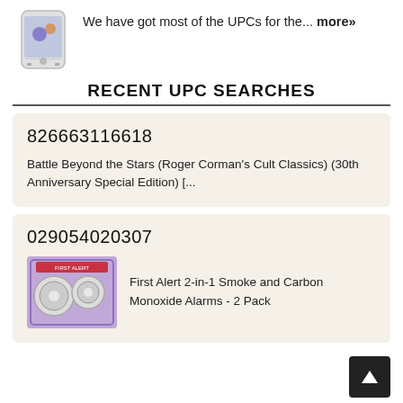[Figure (photo): Smartphone (Google Pixel) product image]
We have got most of the UPCs for the... more»
RECENT UPC SEARCHES
826663116618
Battle Beyond the Stars (Roger Corman's Cult Classics) (30th Anniversary Special Edition) [...
029054020307
[Figure (photo): First Alert 2-in-1 Smoke and Carbon Monoxide Alarms product image]
First Alert 2-in-1 Smoke and Carbon Monoxide Alarms - 2 Pack